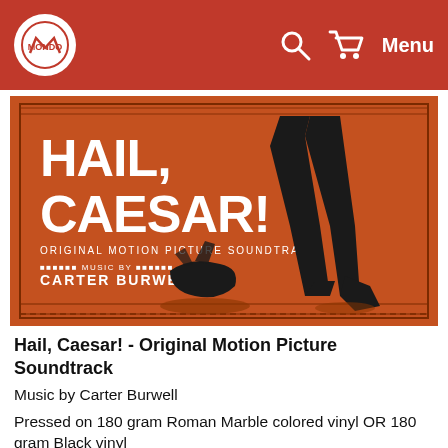Mondo — Menu
[Figure (photo): Album cover for Hail, Caesar! Original Motion Picture Soundtrack by Carter Burwell. Orange/red background with black illustration of legs in boots stepping on a Roman helmet. Text reads HAIL, CAESAR! ORIGINAL MOTION PICTURE SOUNDTRACK MUSIC BY CARTER BURWELL.]
Hail, Caesar! - Original Motion Picture Soundtrack
Music by Carter Burwell
Pressed on 180 gram Roman Marble colored vinyl OR 180 gram Black vinyl
Housed in a period accurate tip-on style single sleeve